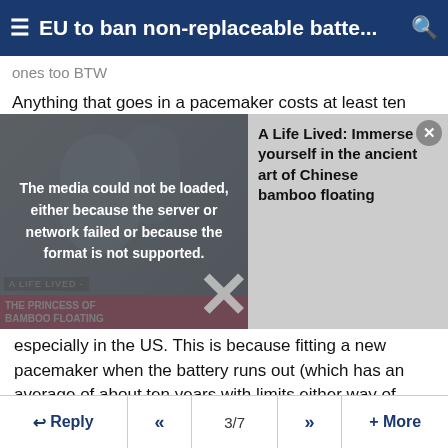EU to ban non-replaceable batte...
ones too BTW
Anything that goes in a pacemaker costs at least ten times
[Figure (screenshot): Video player overlay showing error message 'The media could not be loaded, either because the server or network failed or because the format is not supported.' with a video thumbnail on the left showing 'A Life Lived: The Princess of Bamboo Floating' and a promo panel on the right for 'A Life Lived: Immerse yourself in the ancient art of Chinese bamboo floating', with a large X close button.]
especially in the US. This is because fitting a new pacemaker when the battery runs out (which has an average of about ten years with limits either way of when it needs to be done lying between about 5 and 20 years) often cost upwards of $250,000 ten years ago. It is quite usual. apparently for the insurance companies to negotiate down to maybe $100,000...but either which way, replacing pacemakers is a nice money spinner for hospitals and surgeons.
Reply  «  3/7  »  + More